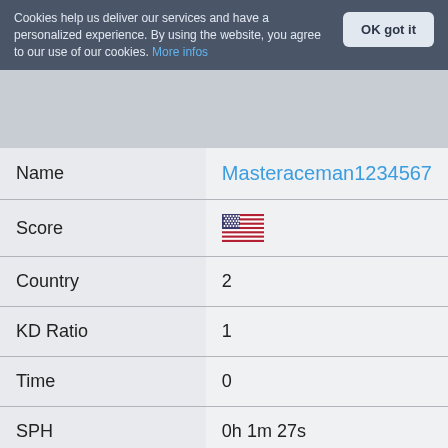Cookies help us deliver our services and have a personalized experience. By using the website, you agree to our use of our cookies. More infos
OK got it
| Field | Value |
| --- | --- |
| Name | Masteraceman1234567 |
| Score | [US Flag] |
| Country | 2 |
| KD Ratio | 1 |
| Time | 0 |
| SPH | 0h 1m 27s |
| Position | 262 |
| Rank | [rank badge icon] |
| Name | =SFU= Sgt_LowPower |